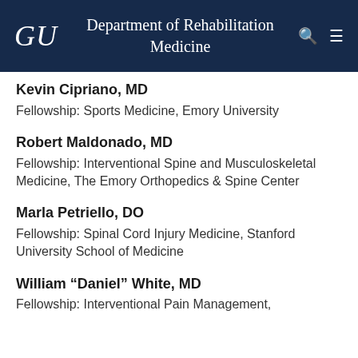GU Department of Rehabilitation Medicine
Kevin Cipriano, MD
Fellowship: Sports Medicine, Emory University
Robert Maldonado, MD
Fellowship: Interventional Spine and Musculoskeletal Medicine, The Emory Orthopedics & Spine Center
Marla Petriello, DO
Fellowship: Spinal Cord Injury Medicine, Stanford University School of Medicine
William “Daniel” White, MD
Fellowship: Interventional Pain Management,